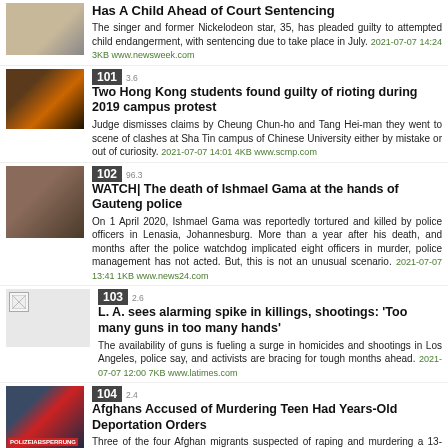[Figure (photo): Thumbnail image of a person (singer/Nickelodeon star)]
Has A Child Ahead of Court Sentencing
The singer and former Nickelodeon star, 35, has pleaded guilty to attempted child endangerment, with sentencing due to take place in July. 2021-07-07 14:24 3KB www.newsweek.com
[Figure (photo): Thumbnail image of Hong Kong protest scene with fire]
101  3.6  Two Hong Kong students found guilty of rioting during 2019 campus protest
Judge dismisses claims by Cheung Chun-ho and Tang Hei-man they went to scene of clashes at Sha Tin campus of Chinese University either by mistake or out of curiosity. 2021-07-07 14:01 4KB www.scmp.com
[Figure (photo): Thumbnail image related to Ishmael Gama story]
102  96.3  WATCH| The death of Ishmael Gama at the hands of Gauteng police
On 1 April 2020, Ishmael Gama was reportedly tortured and killed by police officers in Lenasia, Johannesburg. More than a year after his death, and months after the police watchdog implicated eight officers in murder, police management has not acted. But, this is not an unusual scenario. 2021-07-07 13:41 1KB www.news24.com
[Figure (photo): Broken image placeholder for LA story]
103  2.6  L. A. sees alarming spike in killings, shootings: 'Too many guns in too many hands'
The availability of guns is fueling a surge in homicides and shootings in Los Angeles, police say, and activists are bracing for tough months ahead. 2021-07-07 12:00 7KB www.latimes.com
[Figure (photo): Thumbnail image of police car with POLIZEIABSPERRUNG tape]
104  2.4  Afghans Accused of Murdering Teen Had Years-Old Deportation Orders
Three of the four Afghan migrants suspected of raping and murdering a 13-year-old Austrian girl had their asylum claims declined. But due to … 2021-07-07 11:30 3KB www.breitbart.com